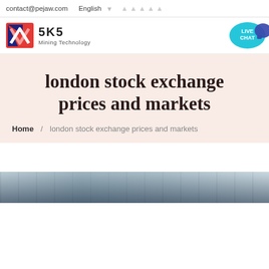contact@pejaw.com   English
[Figure (logo): SKS Mining Technology logo with stylized S icon in red and blue, and text SKS Mining Technology]
[Figure (other): Live Chat speech bubble button in teal color with dark purple chat icon]
london stock exchange prices and markets
Home / london stock exchange prices and markets
[Figure (photo): Partial photo of financial/market related imagery at the bottom of the page]